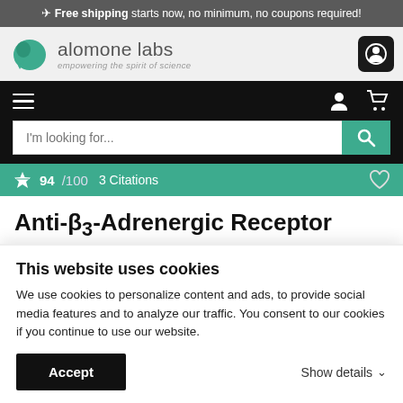✈ Free shipping starts now, no minimum, no coupons required!
[Figure (logo): Alomone Labs logo — teal speech-bubble icon with text 'alomone labs' and tagline 'empowering the spirit of science']
Navigation bar with hamburger menu, user icon, and cart icon
I'm looking for... [Search bar with teal search button]
94 /100   3 Citations
Anti-β3-Adrenergic Receptor (extracellular) Antibody
Beta-3 adrenoceptor, Beta-3 adrenoreceptor
This website uses cookies
We use cookies to personalize content and ads, to provide social media features and to analyze our traffic. You consent to our cookies if you continue to use our website.
Accept   Show details